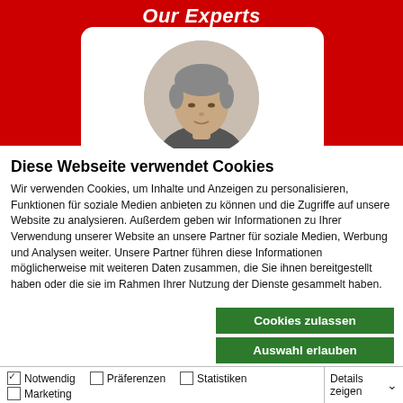Our Experts
[Figure (photo): White rounded card with a circular portrait photo of a middle-aged man with grey hair on a red background]
Diese Webseite verwendet Cookies
Wir verwenden Cookies, um Inhalte und Anzeigen zu personalisieren, Funktionen für soziale Medien anbieten zu können und die Zugriffe auf unsere Website zu analysieren. Außerdem geben wir Informationen zu Ihrer Verwendung unserer Website an unsere Partner für soziale Medien, Werbung und Analysen weiter. Unsere Partner führen diese Informationen möglicherweise mit weiteren Daten zusammen, die Sie ihnen bereitgestellt haben oder die sie im Rahmen Ihrer Nutzung der Dienste gesammelt haben.
Cookies zulassen
Auswahl erlauben
Nur notwendige Cookies
✓ Notwendig  □ Präferenzen  □ Statistiken  □ Marketing  Details zeigen